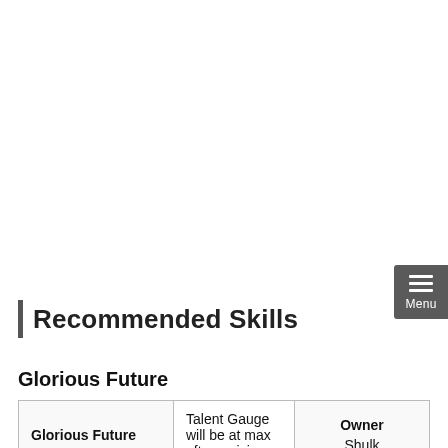Recommended Skills
Glorious Future
|  |  |  |
| --- | --- | --- |
| Glorious Future | Talent Gauge will be at max after a vision. | Owner
Shulk |